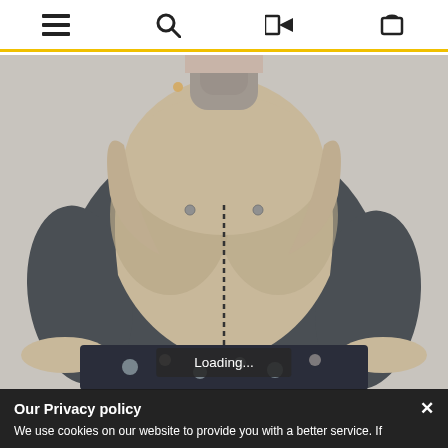Navigation bar with menu, search, login, and cart icons
[Figure (photo): Woman wearing a grey denim aviator jacket with large beige shearling fur collar and lining, paired with a floral skirt and grey turtleneck sweater. Model is cropped at the face.]
Loading...
Our Privacy policy ×
We use cookies on our website to provide you with a better service. If